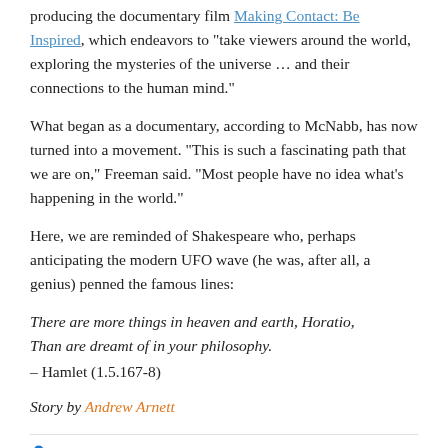producing the documentary film Making Contact: Be Inspired, which endeavors to "take viewers around the world, exploring the mysteries of the universe … and their connections to the human mind."
What began as a documentary, according to McNabb, has now turned into a movement. "This is such a fascinating path that we are on," Freeman said. "Most people have no idea what's happening in the world."
Here, we are reminded of Shakespeare who, perhaps anticipating the modern UFO wave (he was, after all, a genius) penned the famous lines:
There are more things in heaven and earth, Horatio,
Than are dreamt of in your philosophy.
– Hamlet (1.5.167-8)
Story by Andrew Arnett
Andrew Arnett   Editorials, World   December 6, 2017   5 Minutes